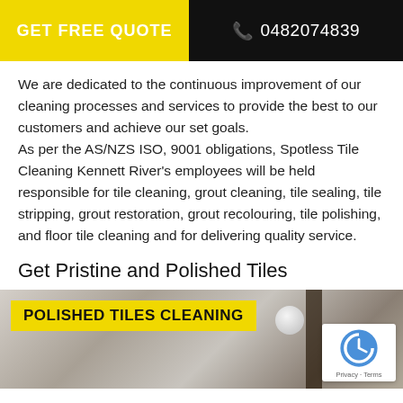GET FREE QUOTE | 0482074839
We are dedicated to the continuous improvement of our cleaning processes and services to provide the best to our customers and achieve our set goals. As per the AS/NZS ISO, 9001 obligations, Spotless Tile Cleaning Kennett River's employees will be held responsible for tile cleaning, grout cleaning, tile sealing, tile stripping, grout restoration, grout recolouring, tile polishing, and floor tile cleaning and for delivering quality service.
Get Pristine and Polished Tiles
[Figure (photo): Photo of polished tiles in a room interior with a yellow banner overlay reading 'POLISHED TILES CLEANING']